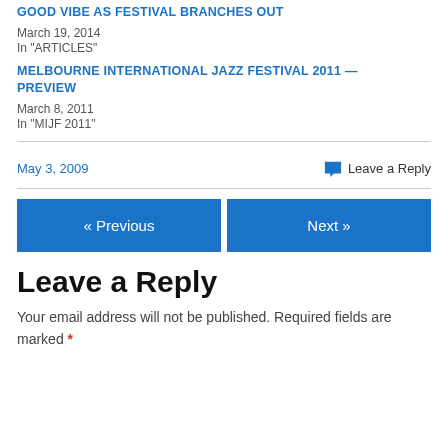GOOD VIBE AS FESTIVAL BRANCHES OUT
March 19, 2014
In "ARTICLES"
MELBOURNE INTERNATIONAL JAZZ FESTIVAL 2011 — PREVIEW
March 8, 2011
In "MIJF 2011"
May 3, 2009
Leave a Reply
« Previous
Next »
Leave a Reply
Your email address will not be published. Required fields are marked *